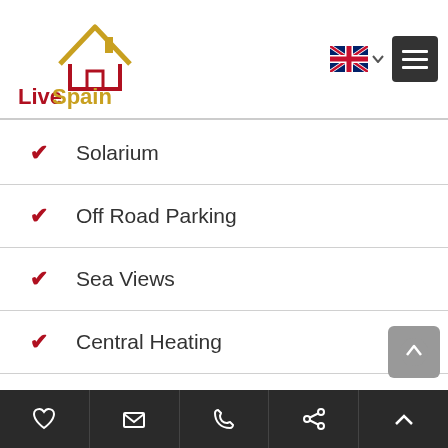[Figure (logo): Live Spain For Life logo with house icon in red/gold and text]
Solarium
Off Road Parking
Sea Views
Central Heating
3 Bathrooms
Terrace